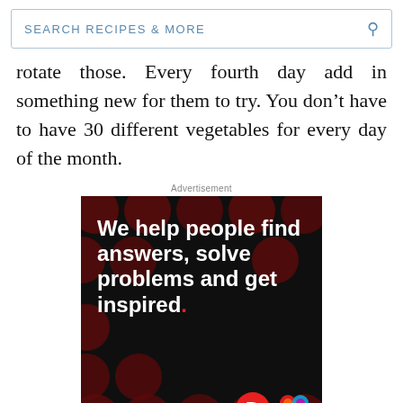SEARCH RECIPES & MORE
rotate those. Every fourth day add in something new for them to try. You don’t have to have 30 different vegetables for every day of the month.
Advertisement
[Figure (screenshot): Advertisement banner for Dotdash Meredith. Black background with dark red polka dot pattern. Large white bold text reads: 'We help people find answers, solve problems and get inspired.' with a red period. Below: 'LEARN MORE' with a red arrow. Bottom right shows the Dotdash logo (red circle with white D) and Dotdash Meredith colorful knot logo.]
We help people find answers, solve problems and get inspired.